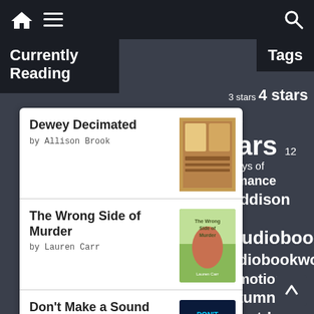Navigation bar with home icon, menu icon, and search icon
Currently Reading
Tags
Dewey Decimated by Allison Brook
The Wrong Side of Murder by Lauren Carr
Don't Make a Sound by David Jackson
The Family Remains by Lisa Jewell
The Witch's Tree by Elena Collins
3 stars 4 stars 5 stars 12 Days of Romance Addison Audiobook Audiobookworm Promotions Autumn Countdown Beck Valley Book Tours bookish blog hop Book Partners In Crime PR Bridging the Gap Tours Christmas Countdown